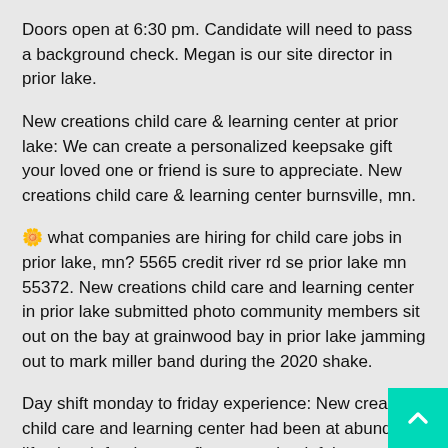Doors open at 6:30 pm. Candidate will need to pass a background check. Megan is our site director in prior lake.
New creations child care & learning center at prior lake: We can create a personalized keepsake gift your loved one or friend is sure to appreciate. New creations child care & learning center burnsville, mn.
🌼 what companies are hiring for child care jobs in prior lake, mn? 5565 credit river rd se prior lake mn 55372. New creations child care and learning center in prior lake submitted photo community members sit out on the bay at grainwood bay in prior lake jamming out to mark miller band during the 2020 shake.
Day shift monday to friday experience: New creations child care and learning center had been at abundant life church for the past five years, but left in august when the owners opened a new building they had constructed in blaine. New creations child care & learning center at prior lake: